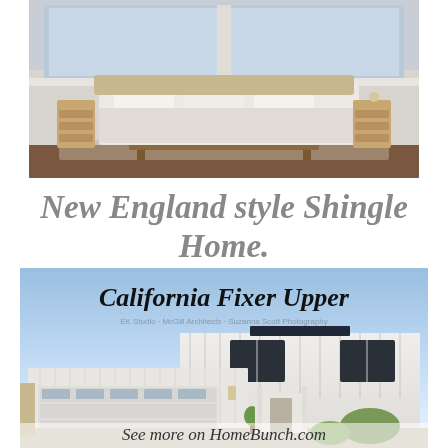[Figure (photo): Bedroom interior with light-colored bedding, upholstered headboard, wooden nightstand with drawers, rattan bench at foot of bed, area rug, and large windows in the background.]
New England style Shingle Home.
[Figure (photo): California Fixer Upper house exterior — a modern white board-and-batten two-story home with black-framed windows, attached garage, and landscaping. Light blue sky background. Text overlay: 'California Fixer Upper' and 'See more on HomeBunch.com']